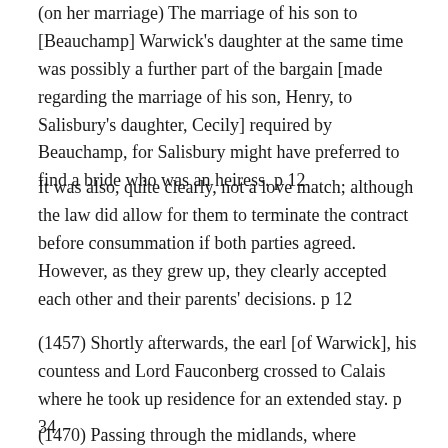(on her marriage) The marriage of his son to [Beauchamp] Warwick's daughter at the same time was possibly a further part of the bargain [made regarding the marriage of his son, Henry, to Salisbury's daughter, Cecily] required by Beauchamp, for Salisbury might have preferred to find a bride who was an heiress. p 12
It was also, quite clearly, not a love match; although the law did allow for them to terminate the contract before consummation if both parties agreed. However, as they grew up, they clearly accepted each other and their parents' decisions. p 12
(1457) Shortly afterwards, the earl [of Warwick], his countess and Lord Fauconberg crossed to Calais where he took up residence for an extended stay. p 34
(1470) Passing through the midlands, where